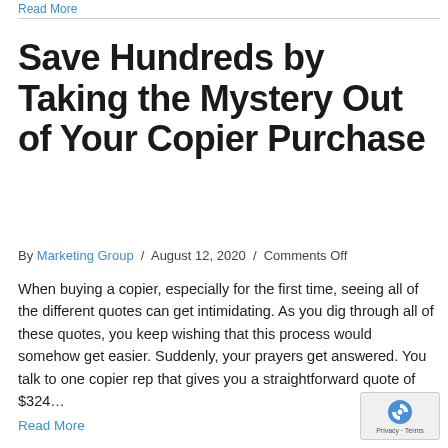Read More
Save Hundreds by Taking the Mystery Out of Your Copier Purchase
By Marketing Group / August 12, 2020 / Comments Off
When buying a copier, especially for the first time, seeing all of the different quotes can get intimidating. As you dig through all of these quotes, you keep wishing that this process would somehow get easier. Suddenly, your prayers get answered. You talk to one copier rep that gives you a straightforward quote of $324…
Read More